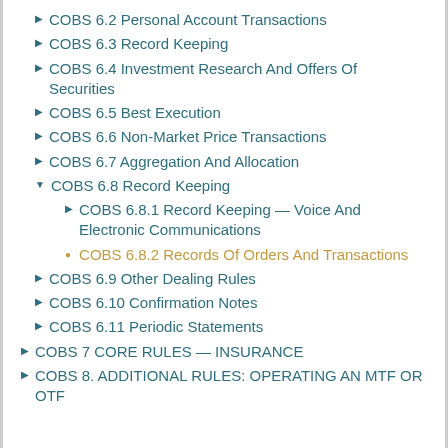COBS 6.2 Personal Account Transactions
COBS 6.3 Record Keeping
COBS 6.4 Investment Research And Offers Of Securities
COBS 6.5 Best Execution
COBS 6.6 Non-Market Price Transactions
COBS 6.7 Aggregation And Allocation
COBS 6.8 Record Keeping
COBS 6.8.1 Record Keeping — Voice And Electronic Communications
COBS 6.8.2 Records Of Orders And Transactions
COBS 6.9 Other Dealing Rules
COBS 6.10 Confirmation Notes
COBS 6.11 Periodic Statements
COBS 7 CORE RULES — INSURANCE
COBS 8. ADDITIONAL RULES: OPERATING AN MTF OR OTF